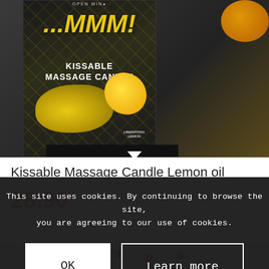[Figure (photo): Product photo of a Kissable Massage Candle Lemon Oil box. Dark box with geometric gold pattern, yellow '...MMM!' text in large italic font, 'KISSABLE MASSAGE CANDLE' in white text, graphic of yellow lips and lemon, 'LIBERATING LEMON' label in corner. Orange fruit visible in background.]
Kissable Massage Candle Lemon oil
28.90
This site uses cookies. By continuing to browse the site, you are agreeing to our use of cookies.
OK
Learn more
[Figure (photo): Bottom strip showing red berries or small red fruits on a gray/white surface.]